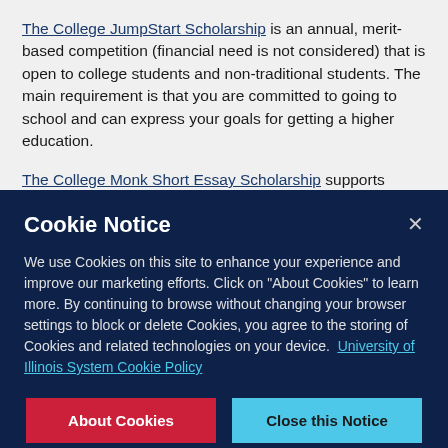The College JumpStart Scholarship is an annual, merit-based competition (financial need is not considered) that is open to college students and non-traditional students. The main requirement is that you are committed to going to school and can express your goals for getting a higher education.
The College Monk Short Essay Scholarship supports Undergraduate and Graduate students across academic programs. Recent high school graduates, continuing students and international students may apply.
Cookie Notice
We use Cookies on this site to enhance your experience and improve our marketing efforts. Click on "About Cookies" to learn more. By continuing to browse without changing your browser settings to block or delete Cookies, you agree to the storing of Cookies and related technologies on your device. University of Illinois System Cookie Policy